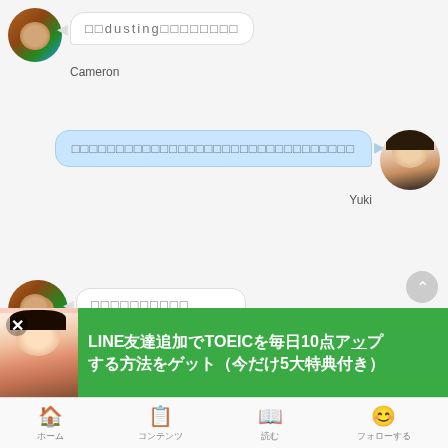[Figure (screenshot): Chat message from Cameron with bubble containing 'dusting' text]
Cameron
[Figure (screenshot): Chat message from Yuki with long Japanese text bubble on right side]
Yuki
[Figure (screenshot): Chat message from Cameron with short Japanese text bubble]
Cameron
[Figure (screenshot): Advertisement banner: LINE友達追加でTOEICを毎日10点アップする方法をゲット（今だけ5大特典付き）]
ホーム　コンテンツ　読む　フォローする